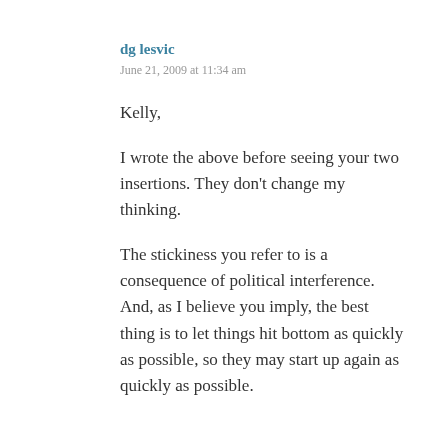dg lesvic
June 21, 2009 at 11:34 am
Kelly,
I wrote the above before seeing your two insertions. They don't change my thinking.
The stickiness you refer to is a consequence of political interference. And, as I believe you imply, the best thing is to let things hit bottom as quickly as possible, so they may start up again as quickly as possible.